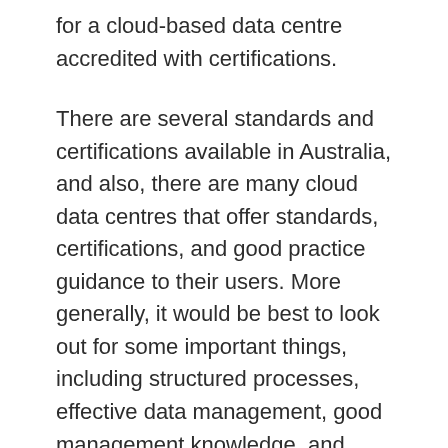for a cloud-based data centre accredited with certifications.
There are several standards and certifications available in Australia, and also, there are many cloud data centres that offer standards, certifications, and good practice guidance to their users. More generally, it would be best to look out for some important things, including structured processes, effective data management, good management knowledge, and service status visibility. Additionally, you also need to understand how cloud based data centres provide